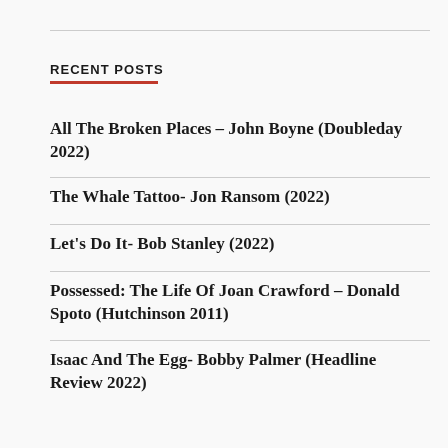RECENT POSTS
All The Broken Places – John Boyne (Doubleday 2022)
The Whale Tattoo- Jon Ransom (2022)
Let's Do It- Bob Stanley (2022)
Possessed: The Life Of Joan Crawford – Donald Spoto (Hutchinson 2011)
Isaac And The Egg- Bobby Palmer (Headline Review 2022)